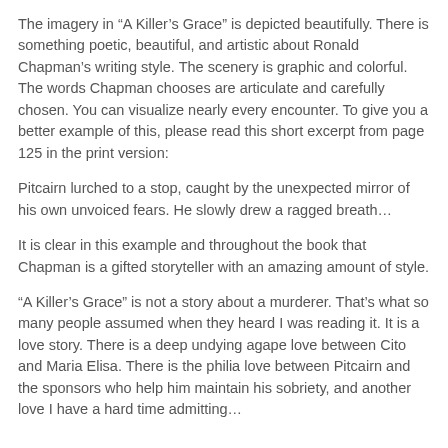The imagery in “A Killer’s Grace” is depicted beautifully. There is something poetic, beautiful, and artistic about Ronald Chapman’s writing style. The scenery is graphic and colorful. The words Chapman chooses are articulate and carefully chosen. You can visualize nearly every encounter. To give you a better example of this, please read this short excerpt from page 125 in the print version:
Pitcairn lurched to a stop, caught by the unexpected mirror of his own unvoiced fears. He slowly drew a ragged breath…
It is clear in this example and throughout the book that Chapman is a gifted storyteller with an amazing amount of style.
“A Killer’s Grace” is not a story about a murderer. That’s what so many people assumed when they heard I was reading it. It is a love story. There is a deep undying agape love between Cito and Maria Elisa. There is the philia love between Pitcairn and the sponsors who help him maintain his sobriety, and another love I have a hard time admitting… is also present in me for Mr. Pitcairn, who is…